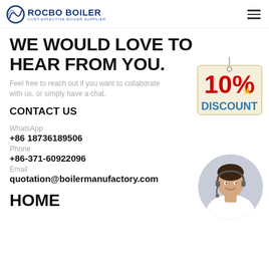ROCBO BOILER — COST-EFFECTIVE BOILER SUPPLIER
WE WOULD LOVE TO HEAR FROM YOU.
Feel free to reach out if you want to collaborate with us, or simply have a chat.
CONTACT US
[Figure (infographic): 10% Discount sign hanging tag with red text '10%' and blue text 'DISCOUNT' on a beige tag background]
WhatsApp
+86 18736189506
Phone
+86-371-60922096
Email
quotation@boilermanufactory.com
[Figure (photo): Customer service representative woman with headset smiling, circular cropped photo]
HOME